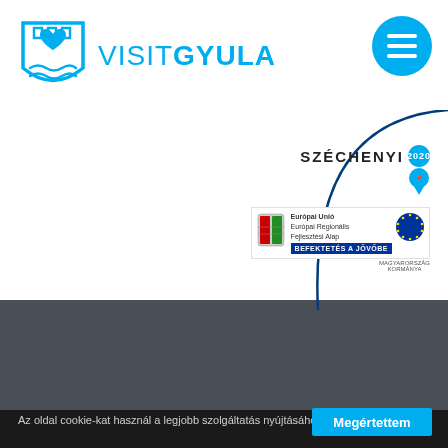[Figure (logo): Visit Gyula logo with castle/heart/wave shield icon and VISITGYULA text in cyan]
[Figure (logo): Circular cyan menu/hamburger button icon in top right]
[Figure (logo): Széchenyi 2020 logo with EU funding badge, Hungarian coat of arms, Európai Unió text, BEFEKTETÉS A JÖVŐBE banner]
Az oldal cookie-kat használ a legjobb szolgáltatás nyújtásához.
Megértettem